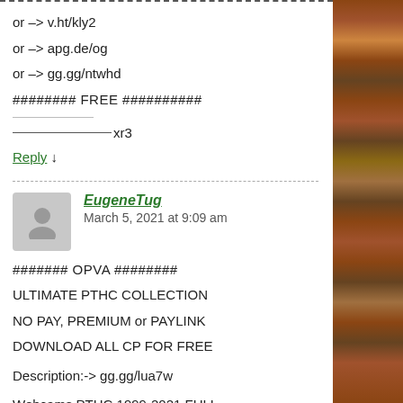or -> v.ht/kly2
or -> apg.de/og
or -> gg.gg/ntwhd
######## FREE ##########
————xr3
Reply ↓
EugeneTug  March 5, 2021 at 9:09 am
####### OPVA ########
ULTIMATE PTHC COLLECTION
NO PAY, PREMIUM or PAYLINK
DOWNLOAD ALL CP FOR FREE
Description:-> gg.gg/lua7w
Webcams PTHC 1999-2021 FULL
STICKAM, Skype, video_mail_ru